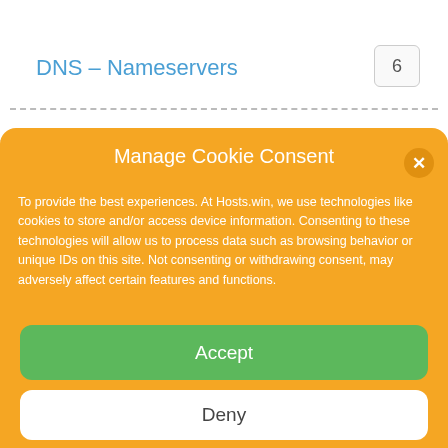DNS – Nameservers
Manage Cookie Consent
To provide the best experiences. At Hosts.win, we use technologies like cookies to store and/or access device information. Consenting to these technologies will allow us to process data such as browsing behavior or unique IDs on this site. Not consenting or withdrawing consent, may adversely affect certain features and functions.
Accept
Deny
View preferences
Privacy Statement